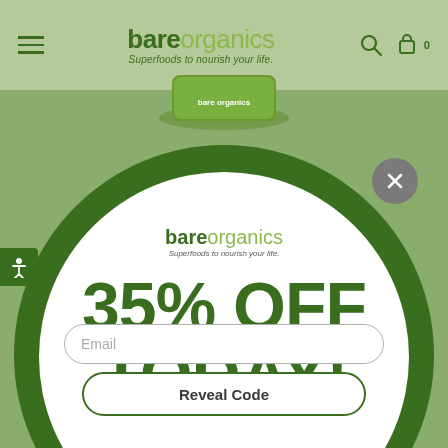bare organics – Superfoods to nourish your life.
[Figure (screenshot): Bare Organics website screenshot showing a product image at top, a green circular modal overlay with a white inner circle displaying a 35% OFF TODAY! discount popup with logo, email input field, and Reveal Code button. A close (X) button appears top-right of the modal. An accessibility icon appears on the left.]
35% OFF TODAY!
Email
Reveal Code